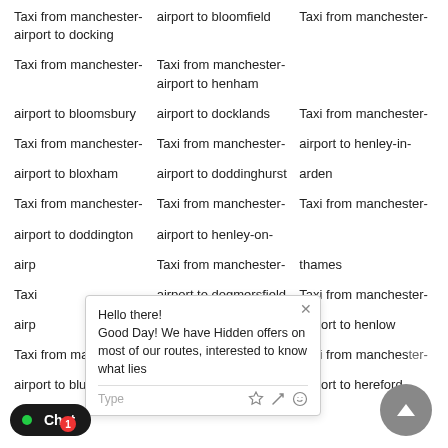Taxi from manchester-airport to docking
Taxi from manchester-airport to bloomfield
Taxi from manchester-airport to henham
Taxi from manchester-airport to bloomsbury
Taxi from manchester-airport to docklands
Taxi from manchester-airport to henley-in-arden
Taxi from manchester-airport to bloxham
Taxi from manchester-airport to doddinghurst
Taxi from manchester-airport to doddington
Taxi from manchester-airport to henley-on-thames
Taxi from manchester-airport to dogmersfield
Taxi from manchester-airport to henlow
Taxi from manchester-airport to blunsdon
Taxi from manchester-airport to donhead-st-andrew
Taxi from manchester-airport to hereford